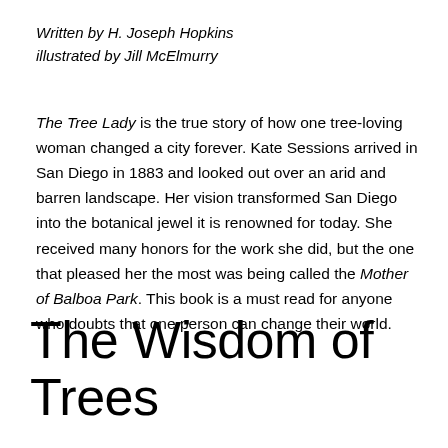Written by H. Joseph Hopkins
illustrated by Jill McElmurry
The Tree Lady is the true story of how one tree-loving woman changed a city forever. Kate Sessions arrived in San Diego in 1883 and looked out over an arid and barren landscape. Her vision transformed San Diego into the botanical jewel it is renowned for today. She received many honors for the work she did, but the one that pleased her the most was being called the Mother of Balboa Park. This book is a must read for anyone who doubts that one person can change their world.
The Wisdom of Trees